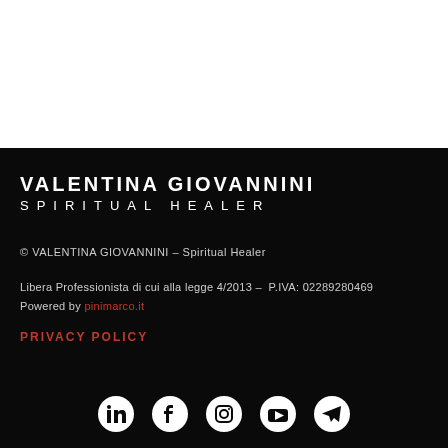[Figure (logo): Valentina Giovannini Spiritual Healer logo in white text on black background]
© VALENTINA GIOVANNINI – Spiritual Healer
Libera Professionista di cui alla legge 4/2013 – P.IVA: 02289280469
Powered by pinimarco.it
PRIVACY POLICY
[Figure (infographic): Social media icons row: LinkedIn, Facebook, Instagram, YouTube, Telegram]